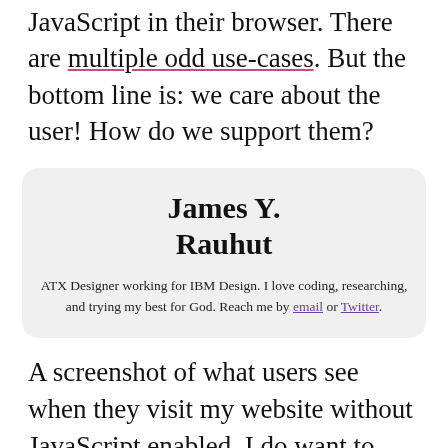JavaScript in their browser. There are multiple odd use-cases. But the bottom line is: we care about the user! How do we support them?
James Y. Rauhut
ATX Designer working for IBM Design. I love coding, researching, and trying my best for God. Reach me by email or Twitter.
A screenshot of what users see when they visit my website without JavaScript enabled. I do want to provide more information to non-JavaScript users soon, but for the meantime this is the bare essentials. Server-side rendering would be a great solution to this.